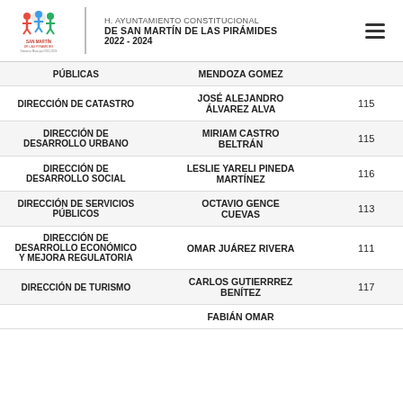H. AYUNTAMIENTO CONSTITUCIONAL DE SAN MARTÍN DE LAS PIRÁMIDES 2022 - 2024
| DIRECCIÓN | TITULAR | EXT. |
| --- | --- | --- |
| PÚBLICAS | MENDOZA GOMEZ |  |
| DIRECCIÓN DE CATASTRO | JOSÉ ALEJANDRO ÁLVAREZ ALVA | 115 |
| DIRECCIÓN DE DESARROLLO URBANO | MIRIAM CASTRO BELTRÁN | 115 |
| DIRECCIÓN DE DESARROLLO SOCIAL | LESLIE YARELI PINEDA MARTÍNEZ | 116 |
| DIRECCIÓN DE SERVICIOS PÚBLICOS | OCTAVIO GENCE CUEVAS | 113 |
| DIRECCIÓN DE DESARROLLO ECONÓMICO Y MEJORA REGULATORIA | OMAR JUÁREZ RIVERA | 111 |
| DIRECCIÓN DE TURISMO | CARLOS GUTIERRREZ BENÍTEZ | 117 |
|  | FABIÁN OMAR |  |